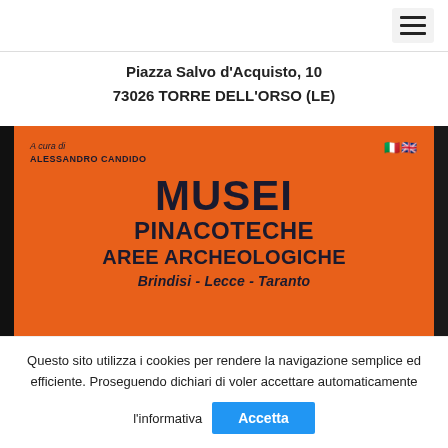Piazza Salvo d'Acquisto, 10
73026 TORRE DELL'ORSO (LE)
[Figure (photo): Photo of an orange book cover titled 'Musei Pinacoteche Aree Archeologiche — Brindisi - Lecce - Taranto', edited by Alessandro Candido, with Italian and UK flag icons, on a dark background.]
Questo sito utilizza i cookies per rendere la navigazione semplice ed efficiente. Proseguendo dichiari di voler accettare automaticamente l'informativa
Accetta